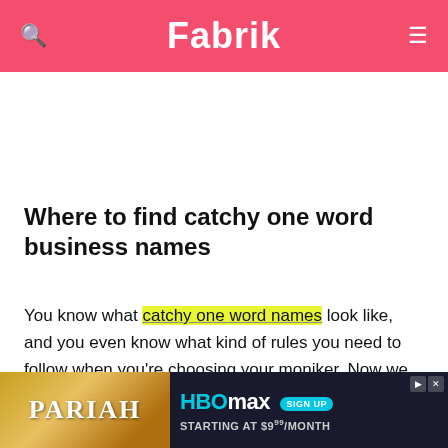Fabrik
Where to find catchy one word business names
You know what catchy one word names look like, and you even know what kind of rules you need to follow when you're choosing your moniker. Now we come to the tricky part – finding the right title.
Unfortunately... name... at a
[Figure (other): HBO Max advertisement banner: PARIAH movie on left with golden sparkling background, HBO Max logo and SIGN UP button on right with dark background, 'STARTING AT $9⁹⁹/MONTH' text]